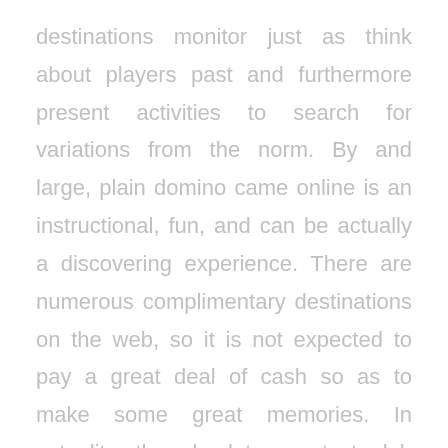destinations monitor just as think about players past and furthermore present activities to search for variations from the norm. By and large, plain domino came online is an instructional, fun, and can be actually a discovering experience. There are numerous complimentary destinations on the web, so it is not expected to pay a great deal of cash so as to make some great memories. In actuality, the absolute greatest club gambling poker gambling destinations do not charge expenses or commissions using any and all means. Mix up and bargain. The cost of the Texas hold'em. Before you can set it $1,000 and...